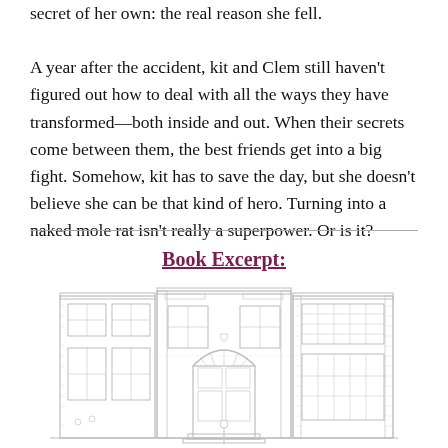secret of her own: the real reason she fell.

A year after the accident, kit and Clem still haven't figured out how to deal with all the ways they have transformed—both inside and out. When their secrets come between them, the best friends get into a big fight. Somehow, kit has to save the day, but she doesn't believe she can be that kind of hero. Turning into a naked mole rat isn't really a superpower. Or is it?
Book Excerpt:
[Figure (illustration): Line drawing of a multi-story brick building facade with an arched entrance doorway, windows, and decorative architectural details]